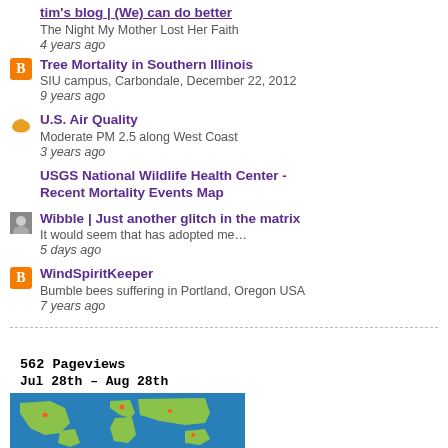tim's blog | (We) can do better – The Night My Mother Lost Her Faith – 4 years ago
Tree Mortality in Southern Illinois – SIU campus, Carbondale, December 22, 2012 – 9 years ago
U.S. Air Quality – Moderate PM 2.5 along West Coast – 3 years ago
USGS National Wildlife Health Center - Recent Mortality Events Map
Wibble | Just another glitch in the matrix – It would seem that has adopted me… – 5 days ago
WindSpiritKeeper – Bumble bees suffering in Portland, Oregon USA – 7 years ago
[Figure (map): Pageviews widget showing 562 Pageviews, Jul 28th - Aug 28th, with a world map in blue/green showing visitor locations]